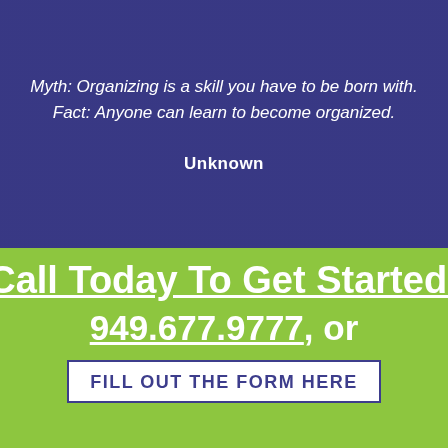Myth: Organizing is a skill you have to be born with. Fact: Anyone can learn to become organized.
Unknown
Call Today To Get Started!
949.677.9777, or
FILL OUT THE FORM HERE